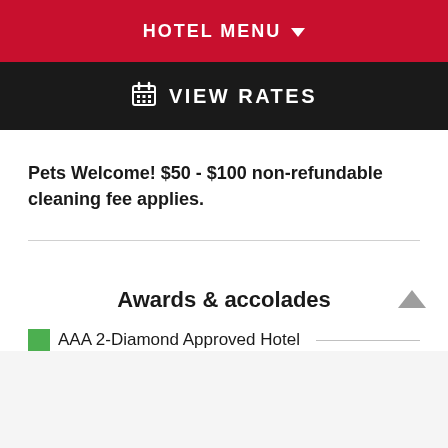HOTEL MENU
VIEW RATES
Pets Welcome! $50 - $100 non-refundable cleaning fee applies.
Awards & accolades
AAA 2-Diamond Approved Hotel